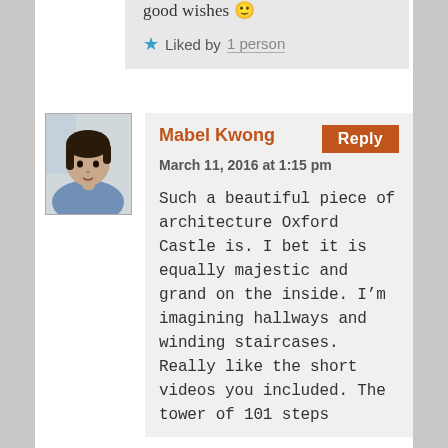good wishes 🙂
★ Liked by 1 person
[Figure (photo): Avatar photo of Mabel Kwong, a woman with dark hair wearing a blue top, photographed indoors.]
Mabel Kwong
Reply
March 11, 2016 at 1:15 pm
Such a beautiful piece of architecture Oxford Castle is. I bet it is equally majestic and grand on the inside. I'm imagining hallways and winding staircases. Really like the short videos you included. The tower of 101 steps